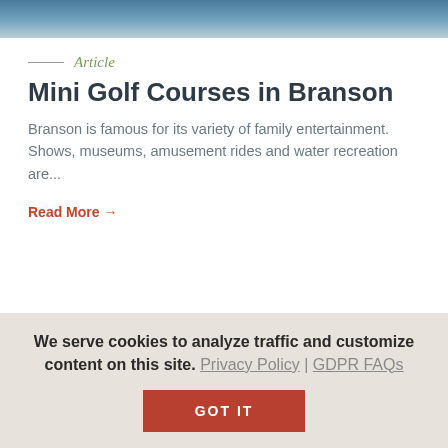[Figure (photo): Partial photo of people at top of page, cropped]
Article
Mini Golf Courses in Branson
Branson is famous for its variety of family entertainment. Shows, museums, amusement rides and water recreation are...
Read More →
We serve cookies to analyze traffic and customize content on this site. Privacy Policy | GDPR FAQs
GOT IT